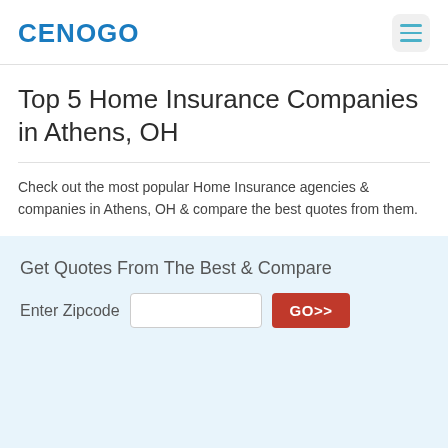CENOGO
Top 5 Home Insurance Companies in Athens, OH
Check out the most popular Home Insurance agencies & companies in Athens, OH & compare the best quotes from them.
Get Quotes From The Best & Compare
Enter Zipcode  GO>>